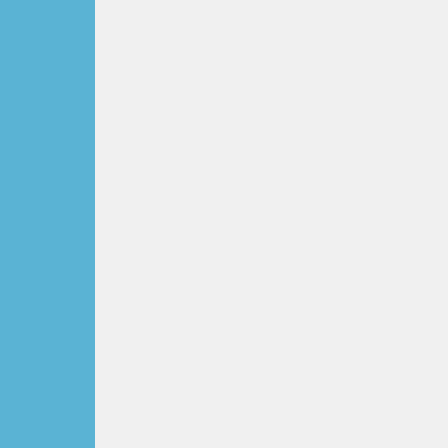[Figure (photo): Small photo thumbnail in upper right corner, partially visible]
When I was looking at the knew I was going to visit t that means a gentle breez Land.

You can see Saba 30 to 5 Saba has been on the hor Martin from St. Croix almo for the amount of land it's of land. Most cruiser's dor unprotected anchorage ar northerly swells makes it a Earthling style is to visit ar untouched and unspoiled. We are on a mooring in a mountain looks like a tall v this. It makes you feel sma not even be able to ancho needs at least 400 to 500 that put these moorings he Saba is also a marine par here is one good place for place, it's like a wonderlar there is so much to see ar Before entering this wonde Dutch coastguard. Two ge documents, recorded infor